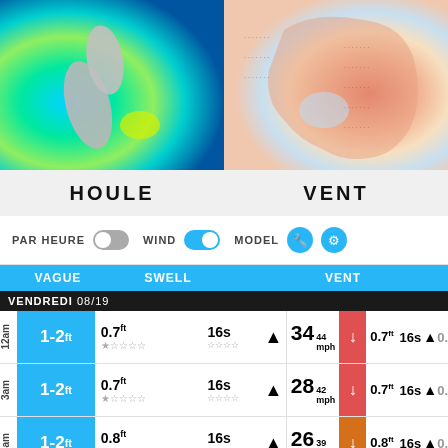[Figure (map): HOULE - Wave height map of New Zealand region showing color-coded swell heights in blues and greens]
[Figure (map): VENT - Wind map of Australia region showing color-coded wind patterns in red/orange tones]
HOULE
VENT
PAR HEURE (toggle off) WIND (toggle on) MODEL (wrench icon) (settings icon)
| VAGUE | SWELL | VENT |
| --- | --- | --- |
| VENDREDI 08/19 |  |  |
| 12am 1-2ft | 0.7ft 16s ▲ ★☆☆☆☆ | 34 44mph ↓ 0.7ft 16s ▲ 0. |
| 3am 1-2ft | 0.7ft 16s ▲ ★☆☆☆☆ | 28 42mph ↓ 0.7ft 16s ▲ 0. |
| 6am 1-2ft | 0.8ft 16s ▲ ★☆☆☆☆ | 26 39mph ↓ 0.8ft 16s ▲ 0. |